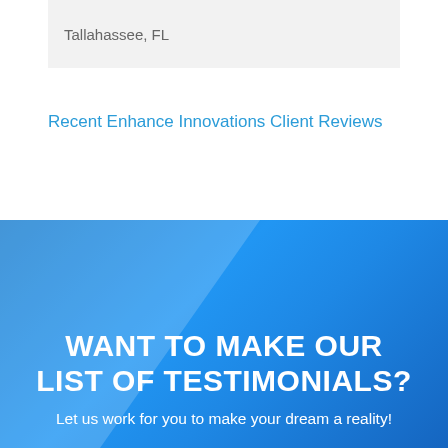Tallahassee, FL
Recent Enhance Innovations Client Reviews
WANT TO MAKE OUR LIST OF TESTIMONIALS?
Let us work for you to make your dream a reality!